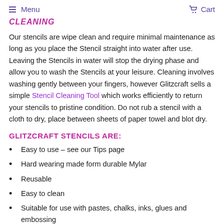Menu  Cart
CLEANING
Our stencils are wipe clean and require minimal maintenance as long as you place the Stencil straight into water after use. Leaving the Stencils in water will stop the drying phase and allow you to wash the Stencils at your leisure. Cleaning involves washing gently between your fingers, however Glitzcraft sells a simple Stencil Cleaning Tool which works efficiently to return your stencils to pristine condition. Do not rub a stencil with a cloth to dry, place between sheets of paper towel and blot dry.
GLITZCRAFT STENCILS ARE:
Easy to use – see our Tips page
Hard wearing made form durable Mylar
Reusable
Easy to clean
Suitable for use with pastes, chalks, inks, glues and embossing